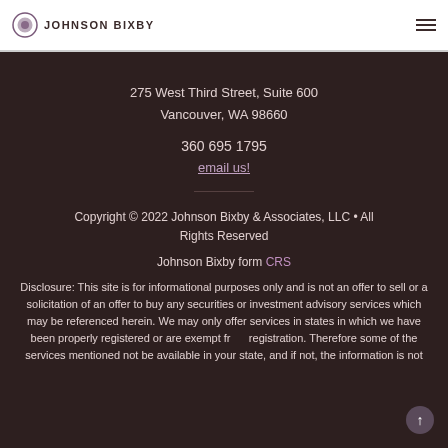[Figure (logo): Johnson Bixby logo with circular emblem and text]
275 West Third Street, Suite 600
Vancouver, WA 98660
360 695 1795
email us!
Copyright © 2022 Johnson Bixby & Associates, LLC • All Rights Reserved
Johnson Bixby form CRS
Disclosure: This site is for informational purposes only and is not an offer to sell or a solicitation of an offer to buy any securities or investment advisory services which may be referenced herein. We may only offer services in states in which we have been properly registered or are exempt from registration. Therefore some of the services mentioned not be available in your state, and if not, the information is not intended for you.